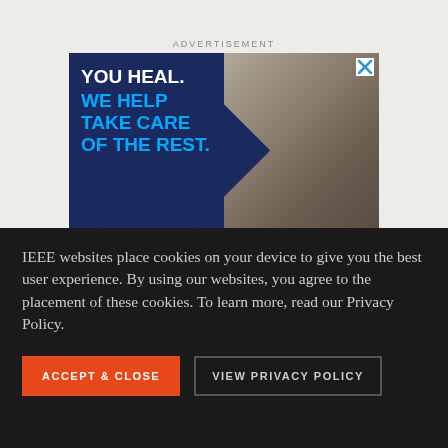ADVERTISEMENT
[Figure (illustration): Advertisement banner showing text 'YOU HEAL. WE HELP TAKE CARE OF THE REST.' on a dark navy blue background with a blurred photo of people on the right side. Has an X close button in the top right corner.]
IEEE websites place cookies on your device to give you the best user experience. By using our websites, you agree to the placement of these cookies. To learn more, read our Privacy Policy.
ACCEPT & CLOSE
VIEW PRIVACY POLICY